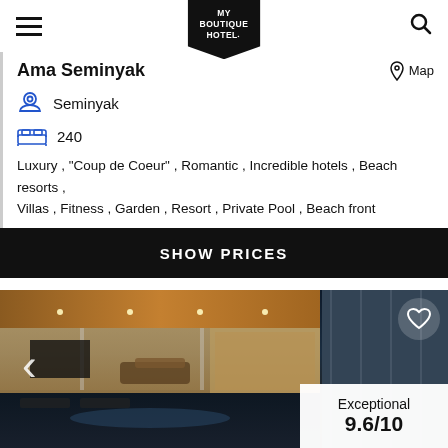MY BOUTIQUE HOTEL
Ama Seminyak
Map
Seminyak
240
Luxury , "Coup de Coeur" , Romantic , Incredible hotels , Beach resorts , Villas , Fitness , Garden , Resort , Private Pool , Beach front
SHOW PRICES
[Figure (photo): Hotel pool area at dusk/evening, showing a luxury open-plan villa with wooden ceiling, recessed lighting, lounge seating, pool in foreground]
Exceptional
9.6/10